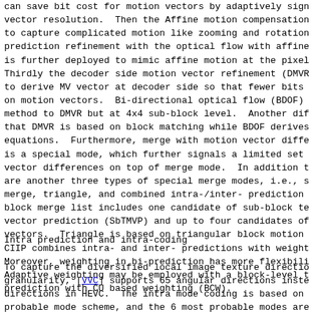can save bit cost for motion vectors by adaptively sign vector resolution.  Then the Affine motion compensation to capture complicated motion like zooming and rotation prediction refinement with the optical flow with affine is further deployed to mimic affine motion at the pixel Thirdly the decoder side motion vector refinement (DMVR to derive MV vector at decoder side so that fewer bits on motion vectors.  Bi-directional optical flow (BDOF) method to DMVR but at 4x4 sub-block level.  Another dif that DMVR is based on block matching while BDOF derives equations.  Furthermore, merge with motion vector diffe is a special mode, which further signals a limited set vector differences on top of merge mode.  In addition t are another three types of special merge modes, i.e., s merge, triangle, and combined intra-/inter- prediction block merge list includes one candidate of sub-block te vector prediction (SbTMVP) and up to four candidates of vectors.  Triangle is based on triangular block motion CIIP combines intra- and inter- predictions with weight Moreover, weighting in bi-prediction has more flexibili Adaptive weighting may be employed with a block-level t prediction with CU based weighting (BCW).
Intra prediction and intra-coding
To capture the diversified local image texture directio granularity, [VVC] supports 65 angular directions inste directions in HEVC.  The intra mode coding is based on probable mode scheme, and the 6 most probable modes are the neighboring intra prediction directions.  In additi